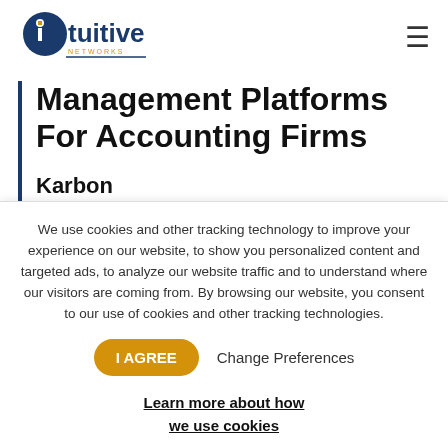Intuitive Networks — navigation header with logo and hamburger menu
Management Platforms For Accounting Firms
Karbon
Karbon is a great tool for accounting
We use cookies and other tracking technology to improve your experience on our website, to show you personalized content and targeted ads, to analyze our website traffic and to understand where our visitors are coming from. By browsing our website, you consent to our use of cookies and other tracking technologies.
I AGREE   Change Preferences   Learn more about how we use cookies